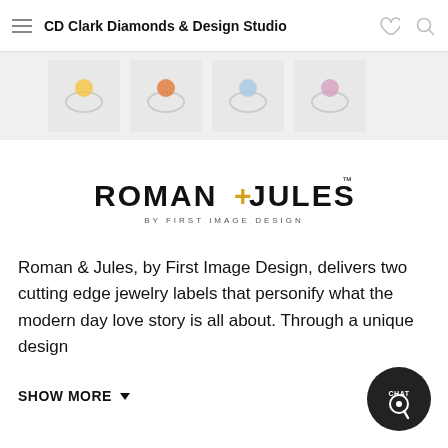CD Clark Diamonds & Design Studio
[Figure (photo): Product image strip showing jewelry items (rings with colorful gemstones) on white background]
[Figure (logo): Roman & Jules by First Image Design logo — bold black lettering with a gold plus sign, subtitle in spaced capitals]
Roman & Jules, by First Image Design, delivers two cutting edge jewelry labels that personify what the modern day love story is all about. Through a unique design
SHOW MORE ▼